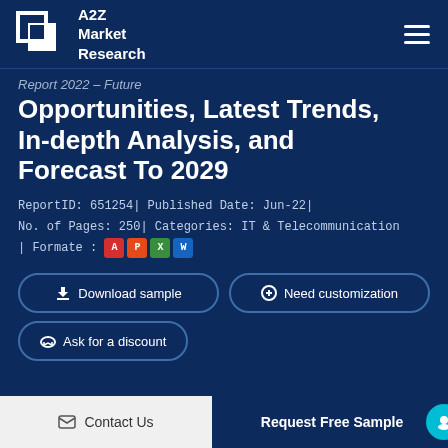[Figure (logo): A2Z Market Research logo with stacked square brackets icon and company name]
Report 2022 – Future Opportunities, Latest Trends, In-depth Analysis, and Forecast To 2029
ReportID: 651254| Published Date: Jun-22| No. of Pages: 250| Categories: IT & Telecommunication | Formate :
[Figure (infographic): Format icons: PDF (red A), PowerPoint (orange P), Excel (green X), Word (blue W)]
Download sample
Need customization
Ask for a discount
Contact Us
Request Free Sample